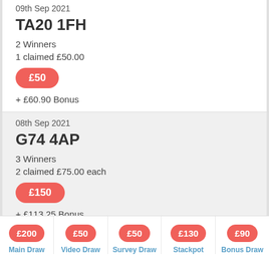09th Sep 2021
TA20 1FH
2 Winners
1 claimed £50.00
£50
+ £60.90 Bonus
08th Sep 2021
G74 4AP
3 Winners
2 claimed £75.00 each
£150
+ £113.25 Bonus
£200 Main Draw
£50 Video Draw
£50 Survey Draw
£130 Stackpot
£90 Bonus Draw